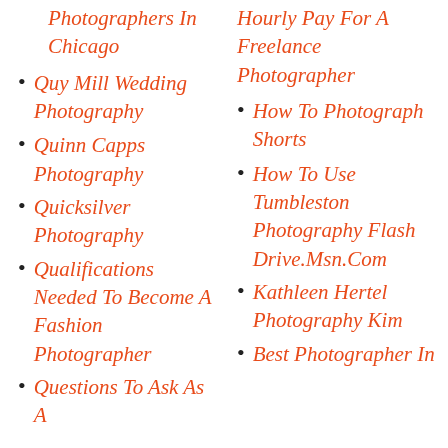Photographers In Chicago
Quy Mill Wedding Photography
Quinn Capps Photography
Quicksilver Photography
Qualifications Needed To Become A Fashion Photographer
Questions To Ask As A
Hourly Pay For A Freelance Photographer
How To Photograph Shorts
How To Use Tumbleston Photography Flash Drive.Msn.Com
Kathleen Hertel Photography Kim
Best Photographer In